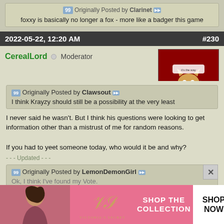Originally Posted by Clarinet — foxxy is basically no longer a fox - more like a badger this game
2022-05-22, 12:20 AM  #230
CerealLord  Moderator
[Figure (illustration): Avatar image showing a cartoon cat/animal in a bowl of cereal on a dark red background]
Originally Posted by Clawsout — I think Krayzy should still be a possibility at the very least
I never said he wasn't. But I think his questions were looking to get information other than a mistrust of me for random reasons.

If you had to yeet someone today, who would it be and why?
- - - Updated - - -
Originally Posted by LemonDemonGirl — Ok, I think I've found my Vote.
[Figure (infographic): Victoria's Secret advertisement banner: pink background with model photo, VS logo, 'SHOP THE COLLECTION' text, and 'SHOP NOW' white button]